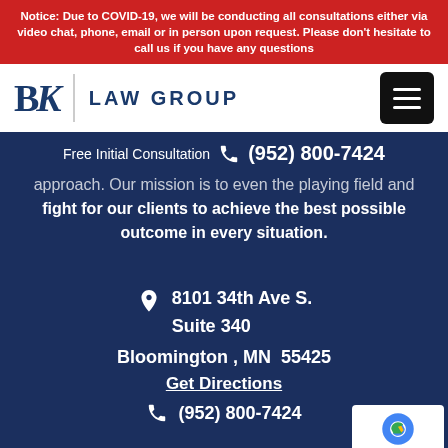Notice: Due to COVID-19, we will be conducting all consultations either via video chat, phone, email or in person upon request. Please don't hesitate to call us if you have any questions
[Figure (logo): BK Law Group logo with stylized BK letters and text LAW GROUP]
Free Initial Consultation  (952) 800-7424
approach. Our mission is to even the playing field and fight for our clients to achieve the best possible outcome in every situation.
8101 34th Ave S.
Suite 340
Bloomington , MN  55425
Get Directions
(952) 800-7424